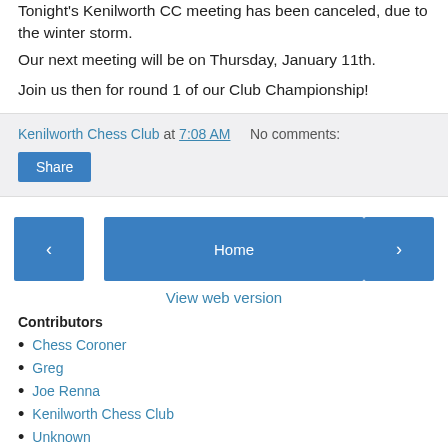Tonight's Kenilworth CC meeting has been canceled, due to the winter storm.
Our next meeting will be on Thursday, January 11th.
Join us then for round 1 of our Club Championship!
Kenilworth Chess Club at 7:08 AM   No comments:
Share
‹   Home   ›
View web version
Contributors
Chess Coroner
Greg
Joe Renna
Kenilworth Chess Club
Unknown